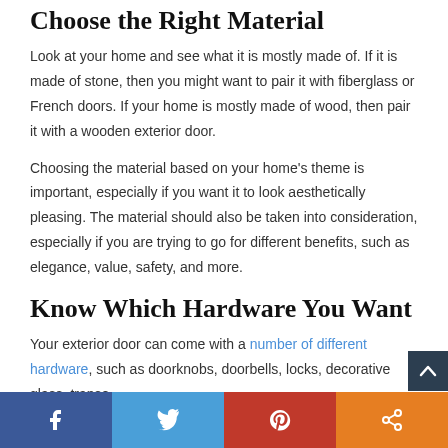Choose the Right Material
Look at your home and see what it is mostly made of. If it is made of stone, then you might want to pair it with fiberglass or French doors. If your home is mostly made of wood, then pair it with a wooden exterior door.
Choosing the material based on your home's theme is important, especially if you want it to look aesthetically pleasing. The material should also be taken into consideration, especially if you are trying to go for different benefits, such as elegance, value, safety, and more.
Know Which Hardware You Want
Your exterior door can come with a number of different hardware, such as doorknobs, doorbells, locks, decorative glass, transo…